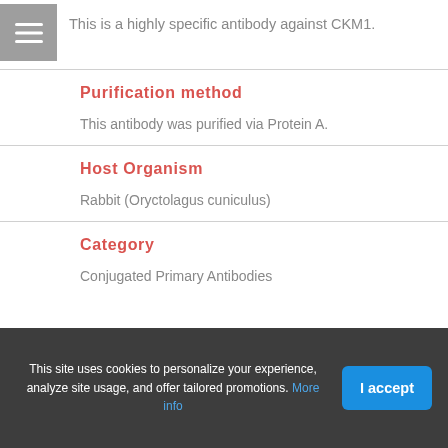This is a highly specific antibody against CKM1.
Purification method
This antibody was purified via Protein A.
Host Organism
Rabbit (Oryctolagus cuniculus)
Category
Conjugated Primary Antibodies
This site uses cookies to personalize your experience, analyze site usage, and offer tailored promotions. More info
I accept